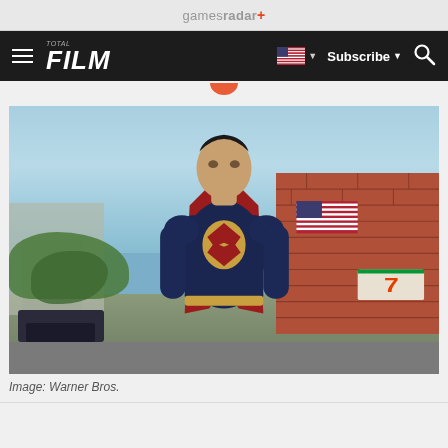gamesradar+
TOTAL FILM  Subscribe  Search
[Figure (photo): Man of Steel / Superman (Henry Cavill) in blue and red suit standing on a street with an American flag on a brick building and a 7-Eleven sign visible in the background. Sky is blue with clouds.]
Image: Warner Bros.